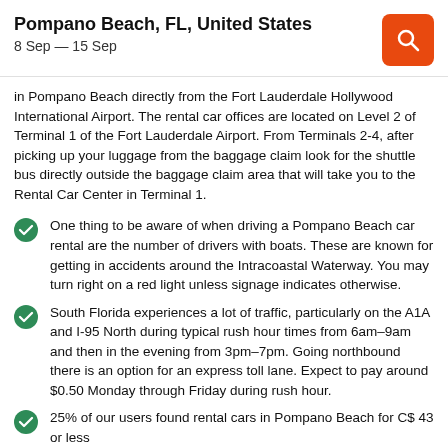Pompano Beach, FL, United States
8 Sep — 15 Sep
in Pompano Beach directly from the Fort Lauderdale Hollywood International Airport. The rental car offices are located on Level 2 of Terminal 1 of the Fort Lauderdale Airport. From Terminals 2-4, after picking up your luggage from the baggage claim look for the shuttle bus directly outside the baggage claim area that will take you to the Rental Car Center in Terminal 1.
One thing to be aware of when driving a Pompano Beach car rental are the number of drivers with boats. These are known for getting in accidents around the Intracoastal Waterway. You may turn right on a red light unless signage indicates otherwise.
South Florida experiences a lot of traffic, particularly on the A1A and I-95 North during typical rush hour times from 6am–9am and then in the evening from 3pm–7pm. Going northbound there is an option for an express toll lane. Expect to pay around $0.50 Monday through Friday during rush hour.
25% of our users found rental cars in Pompano Beach for C$ 43 or less